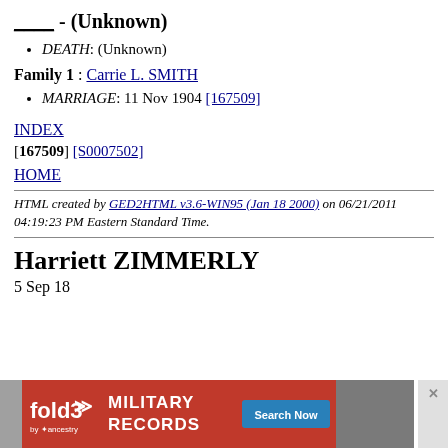____ - (Unknown)
DEATH: (Unknown)
Family 1 : Carrie L. SMITH
MARRIAGE: 11 Nov 1904 [167509]
INDEX
[167509] [S0007502]
HOME
HTML created by GED2HTML v3.6-WIN95 (Jan 18 2000) on 06/21/2011 04:19:23 PM Eastern Standard Time.
Harriett ZIMMERLY
5 Sep 18
[Figure (other): Fold3 Military Records advertisement banner with red background, logo, and Search Now button]